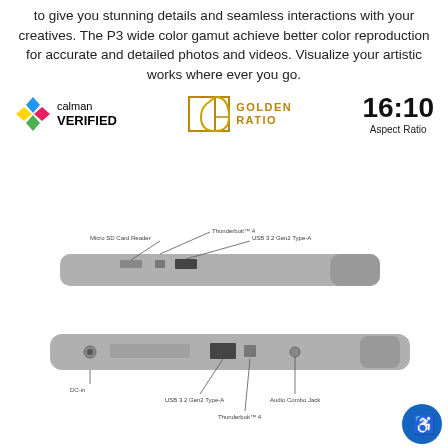to give you stunning details and seamless interactions with your creatives. The P3 wide color gamut achieve better color reproduction for accurate and detailed photos and videos. Visualize your artistic works where ever you go.
[Figure (logo): Calman Verified logo, Golden Ratio logo, and 16:10 Aspect Ratio text badge arranged in a row]
[Figure (photo): Laptop shown from the side with port labels: Thunderbolt 4, Micro SD Card Reader, USB 3.2 Gen2 Type-A on one side; and DC-in, USB 3.2 Gen2 Type-A, Thunderbolt 4, Audio Combo Jack on the other side. Blue accessibility icon in bottom right corner.]